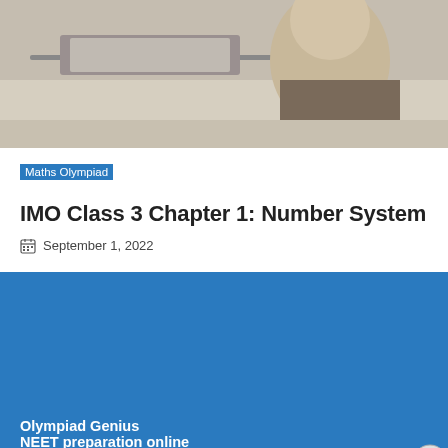[Figure (photo): Person sitting at a desk, partially visible, with laptop and notebooks on the desk surface]
Maths Olympiad
IMO Class 3 Chapter 1: Number System
September 1, 2022
Olympiad Genius
NEET preparation online
Online AIIMS Exam Preparation
Advertisements
Professionally designed sites in less than a week